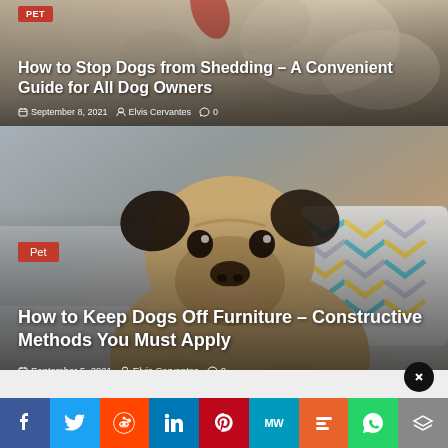[Figure (photo): Top article card with blurred dog background photo, red PET badge, white title text and meta info]
How to Stop Dogs from Shedding – A Convenient Guide for All Dog Owners
September 8, 2021  Elvis Cervantes  0
[Figure (photo): Bottom article card with photo of a pug on a sofa with colorful chevron pillow, red Pet badge, white title text and meta info]
How to Keep Dogs Off Furniture – Constructive Methods You Must Apply
September 5, 2021  Elvis Cervantes  0
[Figure (infographic): Social share bar with Facebook, Twitter, Reddit, LinkedIn, Pinterest, MW, Mix, WhatsApp, and More buttons]